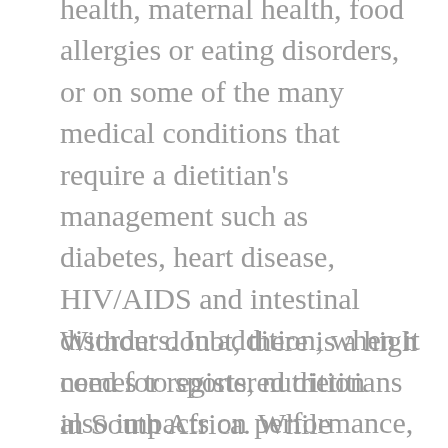health, maternal health, food allergies or eating disorders, or on some of the many medical conditions that require a dietitian's management such as diabetes, heart disease, HIV/AIDS and intestinal disorders. In addition, when it comes to sports, nutrition also impacts on performance, and dietitians may often play integral roles on the teams managing high performance sportspeople.
Without doubt, there is a high need for registered dietitians in South Africa. While infectious disease such as